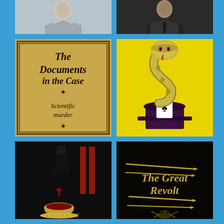[Figure (photo): Author photo - person in light gray blazer, light background]
[Figure (photo): Author photo - person in dark suit, dark background]
[Figure (illustration): Book cover: 'The Documents in the Case' - tan/gold background with serif italic black text, subtitle 'Scientific murder', decorative stars, bordered frame]
[Figure (illustration): Book cover: Yellow background with illustrated cobra snake rearing up from a top hat holding playing cards]
[Figure (illustration): Book cover by Anthony - dark background with illustration of a dripping hand over a teacup with red liquid, red vertical bars, gold 'ANTHONY' text at bottom]
[Figure (illustration): Book cover: 'The Great Revolt' by Paul Doherty - dark background with gold/brown medieval-style text and insect/creature imagery]